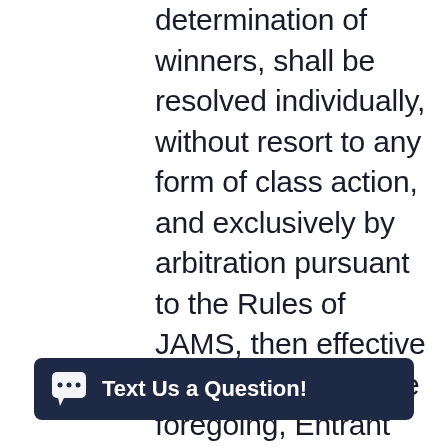determination of winners, shall be resolved individually, without resort to any form of class action, and exclusively by arbitration pursuant to the Rules of JAMS, then effective (notwithstanding the foregoing, Entrant shall not be precluded from seeking relief in small claims court for disputes/claims within the scope of the jurisdiction of small claims court and any remedies available to Entrant under applicable federal, state or local law remain available to Entrant and are not waived pursuant to this section); (b) any and all claims, judgm... ...e limited to actua... ...rrod
[Figure (other): Chat widget button with dark navy background, speech bubble icon, and text 'Text Us a Question!']